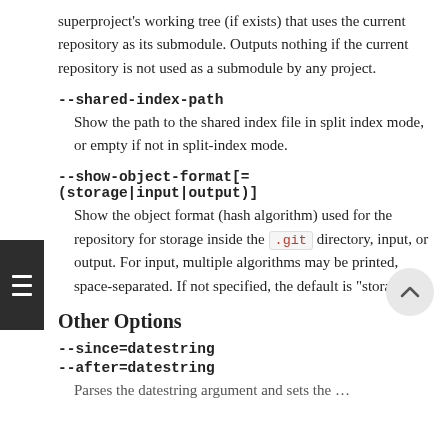superproject's working tree (if exists) that uses the current repository as its submodule. Outputs nothing if the current repository is not used as a submodule by any project.
--shared-index-path
Show the path to the shared index file in split index mode, or empty if not in split-index mode.
--show-object-format[=(storage|input|output)]
Show the object format (hash algorithm) used for the repository for storage inside the .git directory, input, or output. For input, multiple algorithms may be printed, space-separated. If not specified, the default is "storage".
Other Options
--since=datestring
--after=datestring
Parses the datestring argument and sets the ...